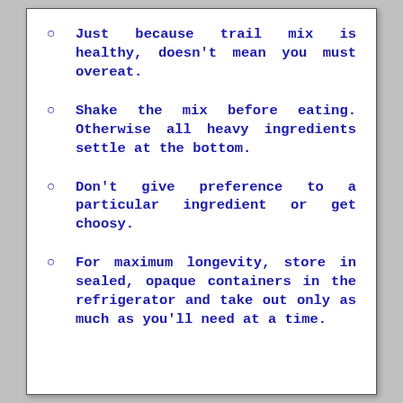Just because trail mix is healthy, doesn't mean you must overeat.
Shake the mix before eating. Otherwise all heavy ingredients settle at the bottom.
Don't give preference to a particular ingredient or get choosy.
For maximum longevity, store in sealed, opaque containers in the refrigerator and take out only as much as you'll need at a time.